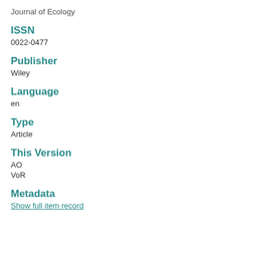Journal of Ecology
ISSN
0022-0477
Publisher
Wiley
Language
en
Type
Article
This Version
AO
VoR
Metadata
Show full item record